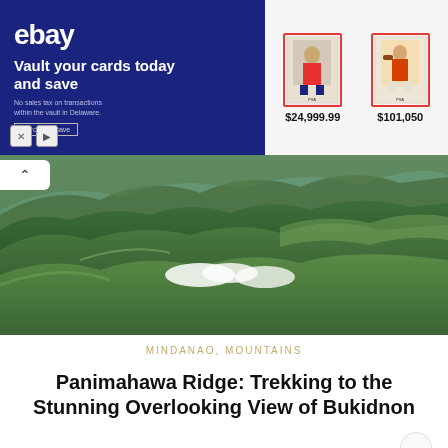[Figure (screenshot): eBay advertisement banner with dark blue background showing 'Vault your cards today and save' with two trading cards priced at $24,999.99 and $101,050]
[Figure (photo): Aerial photograph of Panimahawa Ridge showing lush green mountain ridges with low clouds, overlooking Bukidnon landscape]
MINDANAO, MOUNTAINS
Panimahawa Ridge: Trekking to the Stunning Overlooking View of Bukidnon